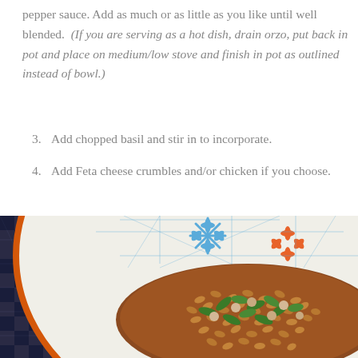pepper sauce. Add as much or as little as you like until well blended. (If you are serving as a hot dish, drain orzo, put back in pot and place on medium/low stove and finish in pot as outlined instead of bowl.)
3. Add chopped basil and stir in to incorporate.
4. Add Feta cheese crumbles and/or chicken if you choose.
[Figure (photo): A decorative white bowl with blue and orange floral/star pattern design, filled with orzo pasta dish topped with fresh green basil, sitting on a dark blue and white checkered cloth background.]